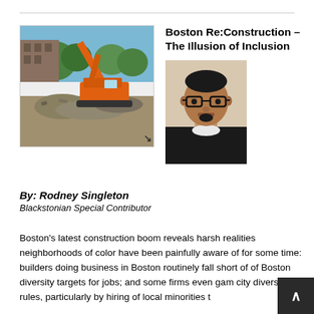[Figure (photo): Construction site with orange excavator and demolition debris, with trees and a building in the background]
Boston Re:Construction – The Illusion of Inclusion
[Figure (photo): Headshot of a man with glasses and short dark hair wearing a dark jacket over white shirt, light background]
By: Rodney Singleton
Blackstonian Special Contributor
Boston's latest construction boom reveals harsh realities neighborhoods of color have been painfully aware of for some time: builders doing business in Boston routinely fall short of of Boston diversity targets for jobs; and some firms even gam city diversity rules, particularly by hiring of local minorities t